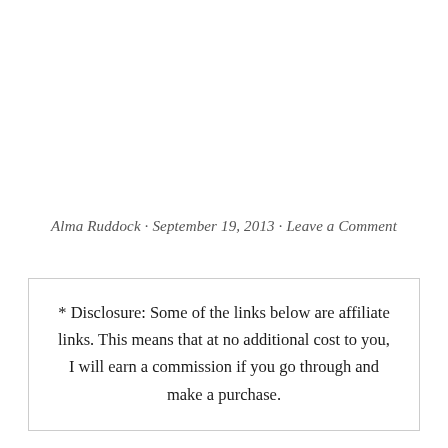Alma Ruddock · September 19, 2013 · Leave a Comment
* Disclosure: Some of the links below are affiliate links. This means that at no additional cost to you, I will earn a commission if you go through and make a purchase.